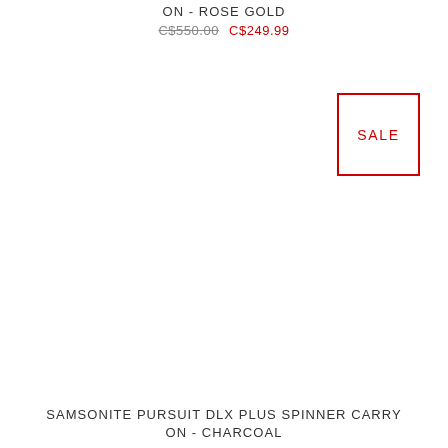ON - ROSE GOLD
C$550.00  C$249.99
[Figure (other): Red bordered SALE badge box]
SAMSONITE PURSUIT DLX PLUS SPINNER CARRY ON - CHARCOAL